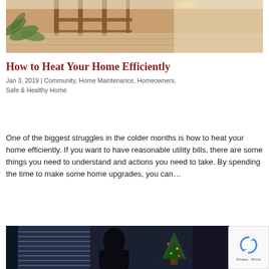[Figure (photo): Interior hallway/lobby photo showing wooden railings, marble flooring, and tropical plants in warm lighting]
How to Heat Your Home Efficiently
Jan 3, 2019 | Community, Home Maintenance, Homeowners, Safe & Healthy Home
One of the biggest struggles in the colder months is how to heat your home efficiently. If you want to have reasonable utility bills, there are some things you need to understand and actions you need to take. By spending the time to make some home upgrades, you can…
[Figure (photo): Dark interior scene showing a silhouette of a person near window blinds with a Christmas tree visible in background]